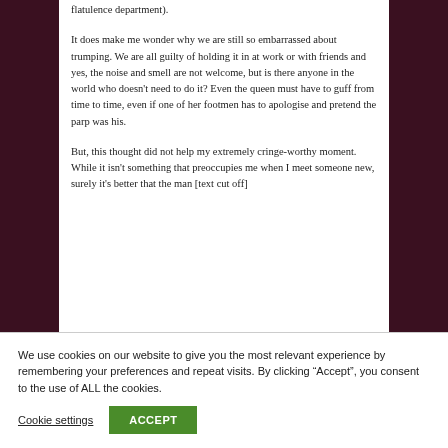flatulence department).
It does make me wonder why we are still so embarrassed about trumping. We are all guilty of holding it in at work or with friends and yes, the noise and smell are not welcome, but is there anyone in the world who doesn't need to do it? Even the queen must have to guff from time to time, even if one of her footmen has to apologise and pretend the parp was his.
But, this thought did not help my extremely cringe-worthy moment. While it isn't something that preoccupies me when I meet someone new, surely it's better that the man [text cut off]
We use cookies on our website to give you the most relevant experience by remembering your preferences and repeat visits. By clicking “Accept”, you consent to the use of ALL the cookies.